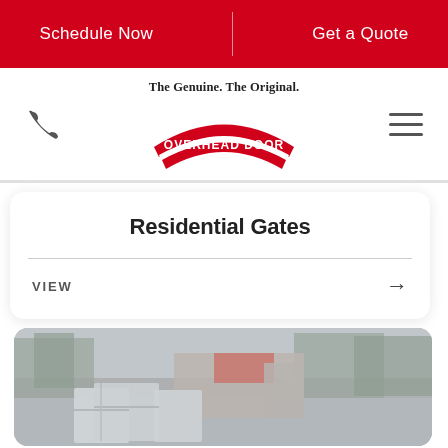Schedule Now | Get a Quote
[Figure (logo): Overhead Door logo with tagline 'The Genuine. The Original.' and phone/hamburger menu icons]
Residential Gates
VIEW →
[Figure (photo): Exterior photo showing residential gates with trees and building in background, muted/greyed color treatment]